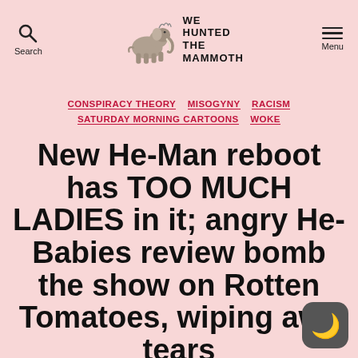Search | WE HUNTED THE MAMMOTH | Menu
CONSPIRACY THEORY
MISOGYNY
RACISM
SATURDAY MORNING CARTOONS
WOKE
New He-Man reboot has TOO MUCH LADIES in it; angry He-Babies review bomb the show on Rotten Tomatoes, wiping awa tears